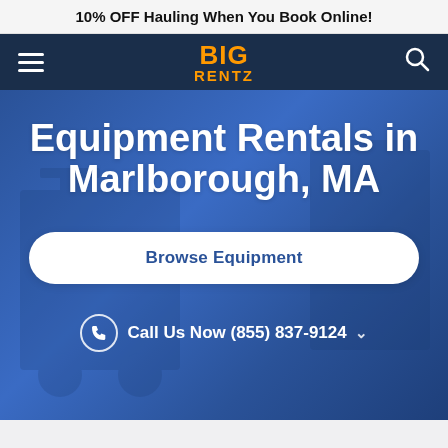10% OFF Hauling When You Book Online!
[Figure (logo): BigRentz logo in orange on dark navy navigation bar with hamburger menu on left and search icon on right]
Equipment Rentals in Marlborough, MA
Browse Equipment
Call Us Now (855) 837-9124 ˅